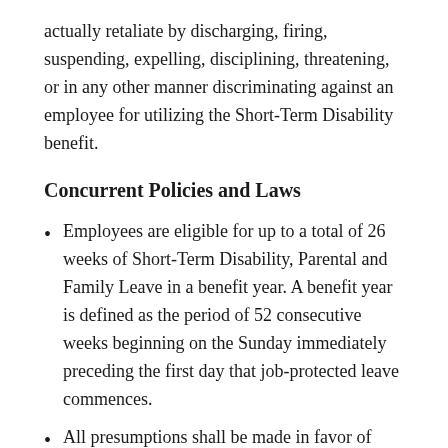actually retaliate by discharging, firing, suspending, expelling, disciplining, threatening, or in any other manner discriminating against an employee for utilizing the Short-Term Disability benefit.
Concurrent Policies and Laws
Employees are eligible for up to a total of 26 weeks of Short-Term Disability, Parental and Family Leave in a benefit year. A benefit year is defined as the period of 52 consecutive weeks beginning on the Sunday immediately preceding the first day that job-protected leave commences.
All presumptions shall be made in favor of